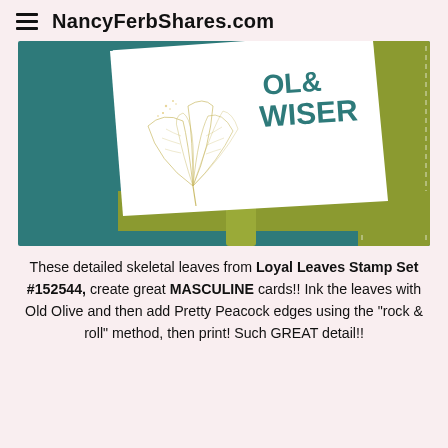NancyFerbShares.com
[Figure (photo): Close-up photo of a handmade greeting card featuring a detailed skeletal ginkgo leaf stamped in gold/green tones on white cardstock, with text reading 'OLDER & WISER' in teal. The card sits on a teal background with a yellow-green stitched border panel.]
These detailed skeletal leaves from Loyal Leaves Stamp Set #152544, create great MASCULINE cards!! Ink the leaves with Old Olive and then add Pretty Peacock edges using the "rock & roll" method, then print! Such GREAT detail!!